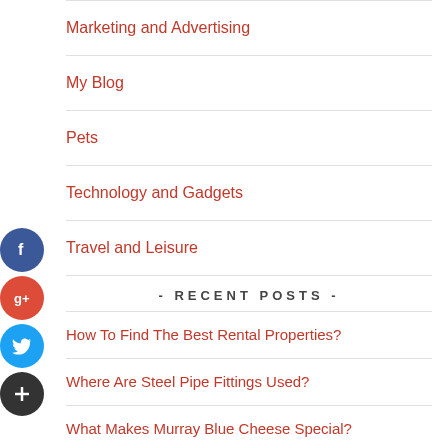Marketing and Advertising
My Blog
Pets
Technology and Gadgets
Travel and Leisure
- RECENT POSTS -
How To Find The Best Rental Properties?
Where Are Steel Pipe Fittings Used?
What Makes Murray Blue Cheese Special?